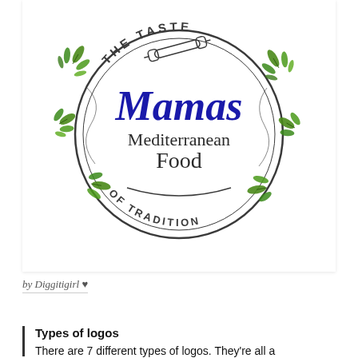[Figure (logo): Circular logo for Mamas Mediterranean Food. Text around top arc reads 'THE TASTE', bottom arc reads 'OF TRADITION'. Center shows 'Mamas' in large blue script, below it 'Mediterranean Food' in dark serif. A rolling pin is illustrated above the text. Green herb/parsley leaves decorate the border.]
by Diggitigirl ♥
Types of logos
There are 7 different types of logos. They're all a